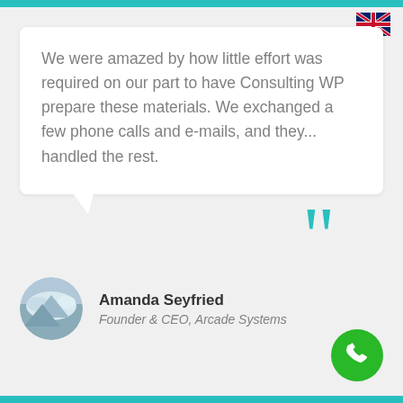[Figure (illustration): UK flag icon in top right corner]
We were amazed by how little effort was required on our part to have Consulting WP prepare these materials. We exchanged a few phone calls and e-mails, and they... handled the rest.
[Figure (illustration): Large teal decorative open quotation marks]
[Figure (photo): Circular avatar photo showing clouds/mountains landscape]
Amanda Seyfried
Founder & CEO, Arcade Systems
[Figure (illustration): Green circular phone/call button icon]